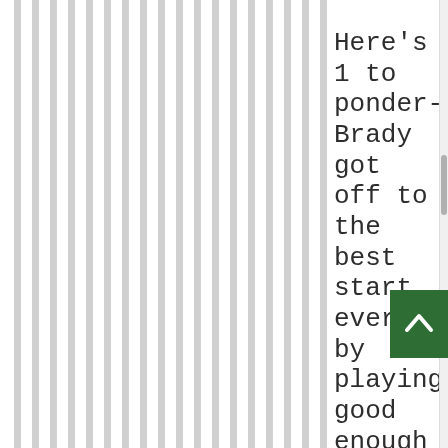[Figure (other): Vertical grey and white stripes filling the left portion of the page]
Here's 1 to ponder- Brady got off to the best start ever by playing good enough to help his team w playoff games in his 1st five years in the l...
[Figure (other): Green scroll-to-top button with a white upward chevron arrow]